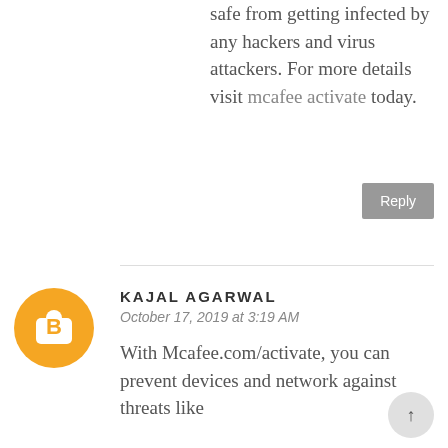safe from getting infected by any hackers and virus attackers. For more details visit mcafee activate today.
Reply
KAJAL AGARWAL
October 17, 2019 at 3:19 AM
With Mcafee.com/activate, you can prevent devices and network against threats like